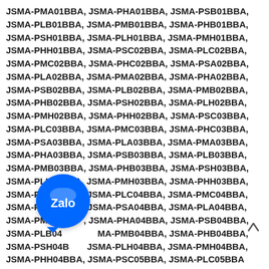JSMA-PMA01BBA, JSMA-PHA01BBA, JSMA-PSB01BBA, JSMA-PLB01BBA, JSMA-PMB01BBA, JSMA-PHB01BBA, JSMA-PSH01BBA, JSMA-PLH01BBA, JSMA-PMH01BBA, JSMA-PHH01BBA, JSMA-PSC02BBA, JSMA-PLC02BBA, JSMA-PMC02BBA, JSMA-PHC02BBA, JSMA-PSA02BBA, JSMA-PLA02BBA, JSMA-PMA02BBA, JSMA-PHA02BBA, JSMA-PSB02BBA, JSMA-PLB02BBA, JSMA-PMB02BBA, JSMA-PHB02BBA, JSMA-PSH02BBA, JSMA-PLH02BBA, JSMA-PMH02BBA, JSMA-PHH02BBA, JSMA-PSC03BBA, JSMA-PLC03BBA, JSMA-PMC03BBA, JSMA-PHC03BBA, JSMA-PSA03BBA, JSMA-PLA03BBA, JSMA-PMA03BBA, JSMA-PHA03BBA, JSMA-PSB03BBA, JSMA-PLB03BBA, JSMA-PMB03BBA, JSMA-PHB03BBA, JSMA-PSH03BBA, JSMA-PLH03BBA, JSMA-PMH03BBA, JSMA-PHH03BBA, JSMA-PSC04BBA, JSMA-PLC04BBA, JSMA-PMC04BBA, JSMA-PHC04BBA, JSMA-PSA04BBA, JSMA-PLA04BBA, JSMA-PMA04BBA, JSMA-PHA04BBA, JSMA-PSB04BBA, JSMA-PLB04BBA, JSMA-PMB04BBA, JSMA-PHB04BBA, JSMA-PSH04BBA, JSMA-PLH04BBA, JSMA-PMH04BBA, JSMA-PHH04BBA, JSMA-PSC05BBA, JSMA-PLC05BBA
[Figure (logo): Zalo app icon overlay — circular blue button with 'Zalo' text and a chat bubble tail at bottom left]